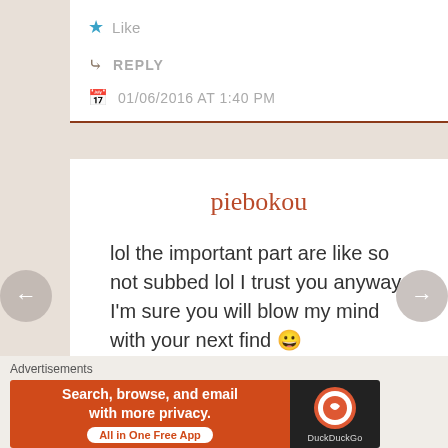Like
REPLY
01/06/2016 AT 1:40 PM
piebokou
lol the important part are like so not subbed lol I trust you anyway I'm sure you will blow my mind with your next find 😀
Like
Advertisements
[Figure (screenshot): DuckDuckGo advertisement banner: Search, browse, and email with more privacy. All in One Free App.]